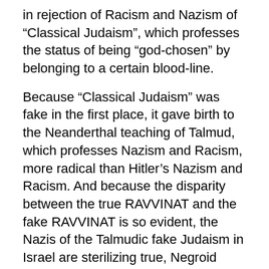in rejection of Racism and Nazism of “Classical Judaism”, which professes the status of being “god-chosen” by belonging to a certain blood-line.
Because “Classical Judaism” was fake in the first place, it gave birth to the Neanderthal teaching of Talmud, which professes Nazism and Racism, more radical than Hitler’s Nazism and Racism. And because the disparity between the true RAVVINAT and the fake RAVVINAT is so evident, the Nazis of the Talmudic fake Judaism in Israel are sterilizing true, Negroid Jews, and forbid them their two-millennia long rituals of true Judaism.
BARAK (or BARUCH) and RABBAI (or RAVI / RAVVIN) means the same as RA-MA or MA-RA, that is, Mother of RA, RAssia, RAssian. RAMA was a woman, not a man.
The same as the first Rabb—TA-RA, literally “TA”